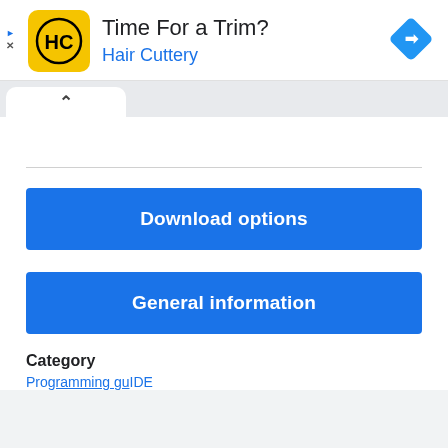[Figure (screenshot): Hair Cuttery advertisement banner with yellow logo showing 'HC', title 'Time For a Trim?', subtitle 'Hair Cuttery', and a blue navigation diamond icon on the right. Small play and X icons on the far left.]
[Figure (screenshot): Browser UI tab row with up-chevron tab active, white background tab on gray.]
Download options
General information
Category
Programming guide